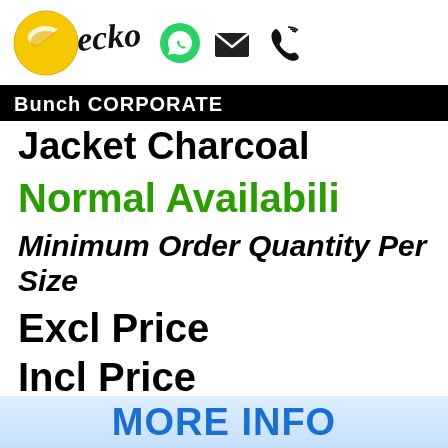[Figure (logo): Ecko brand logo with yellow globe and cursive black text, plus WhatsApp, email and phone icons]
Bunch CORPORATE
Jacket Charcoal
Normal Availability
Minimum Order Quantity Per Size
Excl Price
Incl Price
MORE INFO